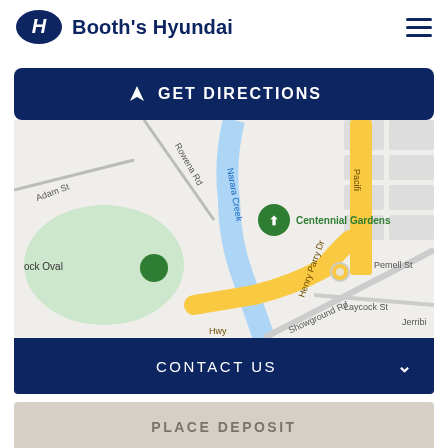Booth's Hyundai
GET DIRECTIONS
[Figure (map): Google Maps view showing Centennial Gardens, Narara Creek, Showground Rd, Henry Parry Dr, Laycock St, Pemell St, Pacific Hwy, Adam St, Rowena Rd, and a location pin. Yellow road (Pacific Hwy/Henry Parry Dr) runs along the right side.]
CONTACT US
PLACE DEPOSIT